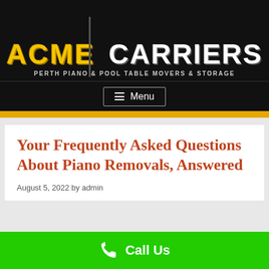[Figure (logo): ACME Carriers logo — Perth Piano & Pool Table Movers & Storage — gold and white text on black background]
≡  Menu
Your Frequently Asked Questions About Piano Removals, Answered
August 5, 2022 by admin
Call Us